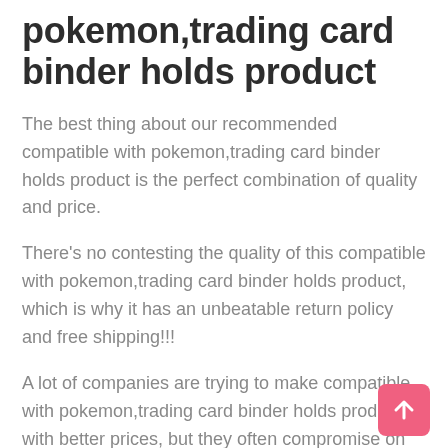pokemon,trading card binder holds product
The best thing about our recommended compatible with pokemon,trading card binder holds product is the perfect combination of quality and price.
There’s no contesting the quality of this compatible with pokemon,trading card binder holds product, which is why it has an unbeatable return policy and free shipping!!!
A lot of companies are trying to make compatible with pokemon,trading card binder holds products with better prices, but they often compromise on functionality or durability which can lead to their downfall in today’s competitive market where customer satisfaction comes first before anything else!